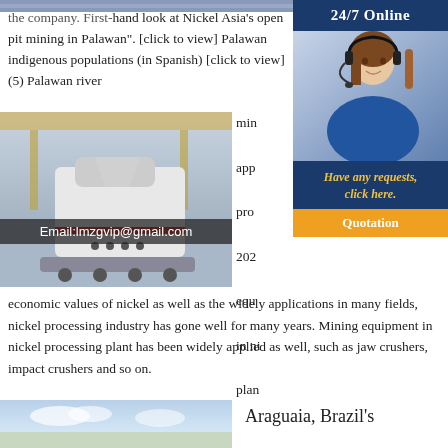[Figure (photo): Top partial image of mining/industrial site]
the company. First-hand look at Nickel Asia's open pit mining in Palawan". [click to view] Palawan indigenous populations (in Spanish) [click to view] (5) Palawan river
[Figure (photo): Industrial mining/crushing machine in a factory setting]
min
app
pro
202
equ
in ni
plan
Email:lmzgvip@gmail.com
24/7 Online
[Figure (photo): Customer service representative with headset]
Have any requests, click here.
Quotation
economic values of nickel as well as the widely applications in many fields, nickel processing industry has gone well for many years. Mining equipment in nickel processing plant has been widely applied as well, such as jaw crushers, impact crushers and so on.
[Figure (photo): Outdoor landscape photo, partial view at bottom]
Araguaia, Brazil's